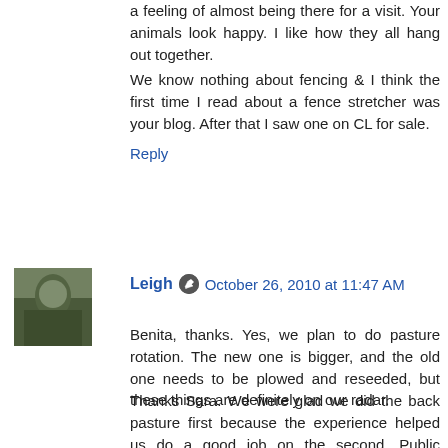a feeling of almost being there for a visit. Your animals look happy. I like how they all hang out together.
We know nothing about fencing & I think the first time I read about a fence stretcher was your blog. After that I saw one on CL for sale.
Reply
Leigh  October 26, 2010 at 11:47 AM
Benita, thanks. Yes, we plan to do pasture rotation. The new one is bigger, and the old one needs to be plowed and reseeded, but these things are definitely on our radar.
Thanks Sara. We were glad we did the back pasture first because the experience helped us do a good job on the second. Public appearance and all that. :)
Melissa, it's a lot of fun looking out the window and seeing the goats and Charlie out there, with a few chickens sprinkled into the mix. :)
Barb, there is so much more for them to graze on, so they